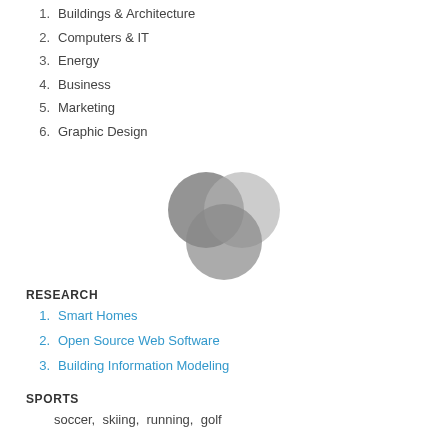1. Buildings & Architecture
2. Computers & IT
3. Energy
4. Business
5. Marketing
6. Graphic Design
[Figure (illustration): Venn diagram with three overlapping circles in gray tones]
RESEARCH
1. Smart Homes
2. Open Source Web Software
3. Building Information Modeling
SPORTS
soccer,  skiing,  running,  golf